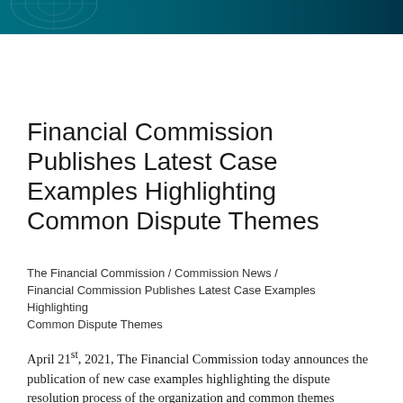[Figure (other): Teal/dark blue header banner with organization logo at top of page]
Financial Commission Publishes Latest Case Examples Highlighting Common Dispute Themes
The Financial Commission / Commission News / Financial Commission Publishes Latest Case Examples Highlighting Common Dispute Themes
April 21st, 2021, The Financial Commission today announces the publication of new case examples highlighting the dispute resolution process of the organization and common themes